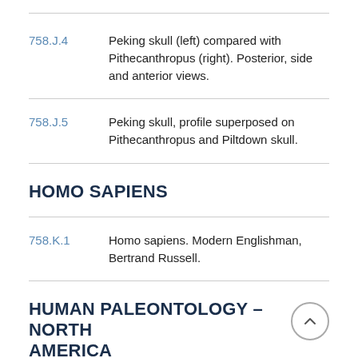758.J.4 — Peking skull (left) compared with Pithecanthropus (right). Posterior, side and anterior views.
758.J.5 — Peking skull, profile superposed on Pithecanthropus and Piltdown skull.
HOMO SAPIENS
758.K.1 — Homo sapiens. Modern Englishman, Bertrand Russell.
HUMAN PALEONTOLOGY – NORTH AMERICA